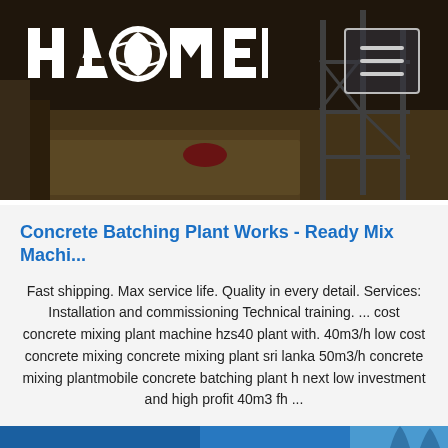[Figure (photo): Dark construction site photo showing concrete batching plant equipment, gravel, and scaffolding in the background]
Concrete Batching Plant Works - Ready Mix Machi...
Fast shipping. Max service life. Quality in every detail. Services: Installation and commissioning Technical training. ... cost concrete mixing plant machine hzs40 plant with. 40m3/h low cost concrete mixing concrete mixing plant sri lanka 50m3/h concrete mixing plantmobile concrete batching plant h next low investment and high profit 40m3 fh ...
Get Price
[Figure (logo): TOP button icon with dots arranged in an arc above the word TOP]
[Figure (photo): Blue footer strip with palm trees visible]